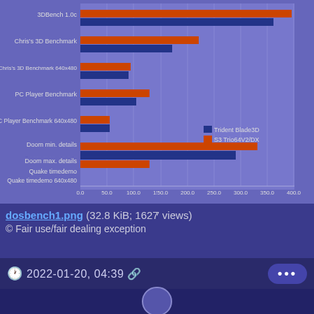[Figure (grouped-bar-chart): Benchmark Comparison]
dosbench1.png (32.8 KiB; 1627 views)
© Fair use/fair dealing exception
#1 VIA C3 Ezra-T 1.0GHz/MSI MS-6368/Voodoo2+ViRGE GX/SBPro2+YMF744+AWE64+SC-7
#2 Pentium III-S Tualatin 1.40GHz/QDI A10T/Voodoo3 3000+GF4 Ti4200/Audigy+AU8830+SC-50
2022-01-20, 04:39